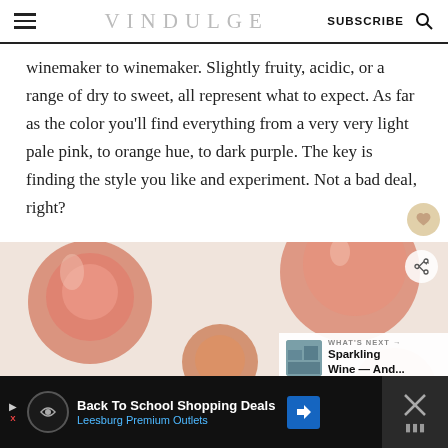VINDULGE  SUBSCRIBE
winemaker to winemaker. Slightly fruity, acidic, or a range of dry to sweet, all represent what to expect. As far as the color you'll find everything from a very very light pale pink, to orange hue, to dark purple. The key is finding the style you like and experiment. Not a bad deal, right?
[Figure (photo): Overhead view of multiple glasses of rosé wine in various shades from pale pink to dark orange-pink, on a light surface.]
WHAT'S NEXT → Sparkling Wine — And...
Back To School Shopping Deals
Leesburg Premium Outlets